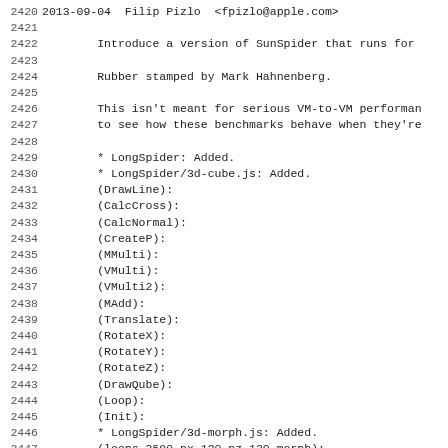2420 2013-09-04  Filip Pizlo  <fpizlo@apple.com>
2421
2422        Introduce a version of SunSpider that runs for
2423
2424        Rubber stamped by Mark Hahnenberg.
2425
2426        This isn't meant for serious VM-to-VM performan
2427        to see how these benchmarks behave when they're
2428
2429        * LongSpider: Added.
2430        * LongSpider/3d-cube.js: Added.
2431        (DrawLine):
2432        (CalcCross):
2433        (CalcNormal):
2434        (CreateP):
2435        (MMulti):
2436        (VMulti):
2437        (VMulti2):
2438        (MAdd):
2439        (Translate):
2440        (RotateX):
2441        (RotateY):
2442        (RotateZ):
2443        (DrawQube):
2444        (Loop):
2445        (Init):
2446        * LongSpider/3d-morph.js: Added.
2447        (loops.3500.nx.120.nz.120.morph):
2448        * LongSpider/3d-raytrace.js: Added.
2449        (createVector):
2450        (sqrLengthVector):
2451        (lengthVector):